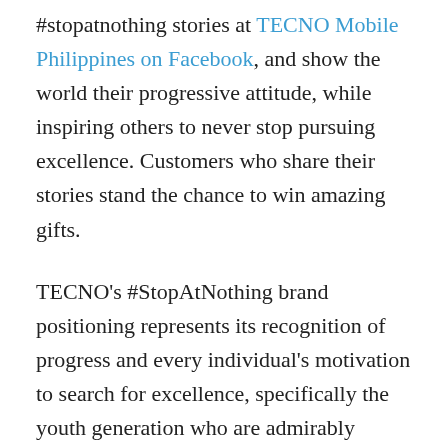#stopatnothing stories at TECNO Mobile Philippines on Facebook, and show the world their progressive attitude, while inspiring others to never stop pursuing excellence. Customers who share their stories stand the chance to win amazing gifts.
TECNO's #StopAtNothing brand positioning represents its recognition of progress and every individual's motivation to search for excellence, specifically the youth generation who are admirably resilient in the face of adversity. They continue to push society forward through their individual actions, their optimism, and ability to turn obstacles into